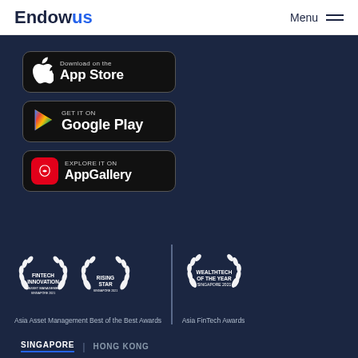Endowus | Menu
[Figure (screenshot): App Store download badge - black rounded rectangle button with Apple logo and text 'Download on the App Store']
[Figure (screenshot): Google Play download badge - black rounded rectangle button with Google Play logo and text 'GET IT ON Google Play']
[Figure (screenshot): Huawei AppGallery badge - black rounded rectangle button with Huawei logo and text 'EXPLORE IT ON AppGallery']
[Figure (infographic): Award laurels: Fintech Innovation In Asset Management Singapore 2021, Rising Star Singapore 2021 (Asia Asset Management Best of the Best Awards), and Wealthtech of the Year Singapore 2021 (Asia FinTech Awards)]
Asia Asset Management Best of the Best Awards
Asia FinTech Awards
SINGAPORE | HONG KONG